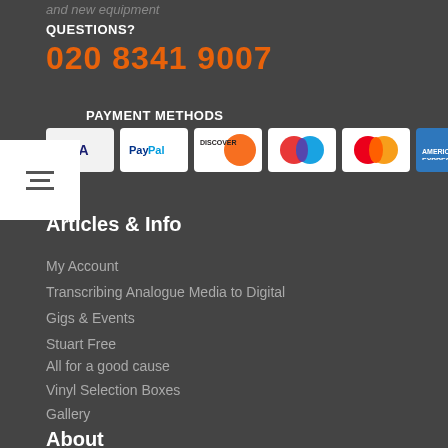and new equipment
QUESTIONS?
020 8341 9007
PAYMENT METHODS
[Figure (logo): Payment method logos: Visa, PayPal, Discover, Maestro, MasterCard, American Express]
Articles & Info
My Account
Transcribing Analogue Media to Digital
Gigs & Events
Stuart Free
All for a good cause
Vinyl Selection Boxes
Gallery
About